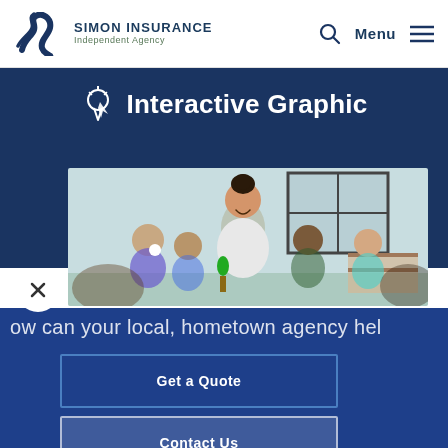SIMON INSURANCE Independent Agency
Interactive Graphic
[Figure (photo): Teacher with young children in a colorful classroom setting, children smiling, bright learning environment]
ow can your local, hometown agency hel
Get a Quote
Contact Us